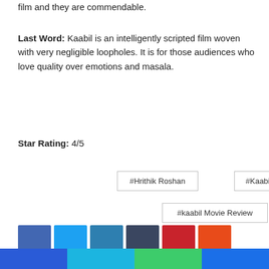film and they are commendable.
Last Word: Kaabil is an intelligently scripted film woven with very negligible loopholes. It is for those audiences who love quality over emotions and masala.
Star Rating: 4/5
#Hrithik Roshan
#Kaabil
#kaabil Movie Review
[Figure (infographic): Social sharing icon buttons in various colors: blue (Facebook), light blue (Twitter), teal (LinkedIn), dark navy, red (Pinterest), orange (Reddit), slate blue (VK), dark gray, and an additional dark gray square below.]
[Figure (infographic): Footer bar with four colored segments: blue, cyan/teal, green, and blue.]